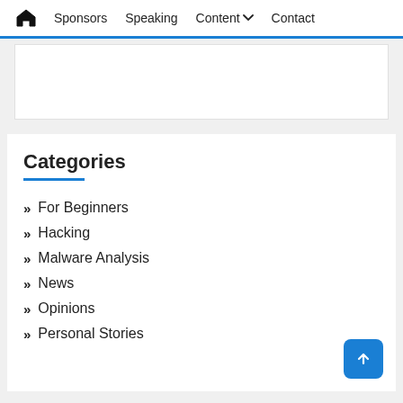🏠 Sponsors  Speaking  Content ⌄  Contact
[Figure (other): Advertisement / banner placeholder box]
Categories
For Beginners
Hacking
Malware Analysis
News
Opinions
Personal Stories